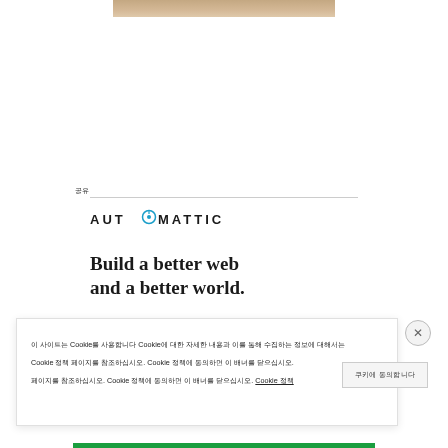[Figure (photo): Partial photo visible at top of page, showing a room/furniture scene with warm tones]
공유
[Figure (logo): Automattic logo with stylized O containing a circular icon]
Build a better web and a better world.
이 사이트는 Cookie를 사용합니다 Cookie에 대한 자세한 내용과 이를 통해 수집하는 정보에 대해서는 Cookie 정책 페이지를 참조하십시오. Cookie 정책에 동의하면 이 배너를 닫으십시오. Cookie 정책
쿠키 동의